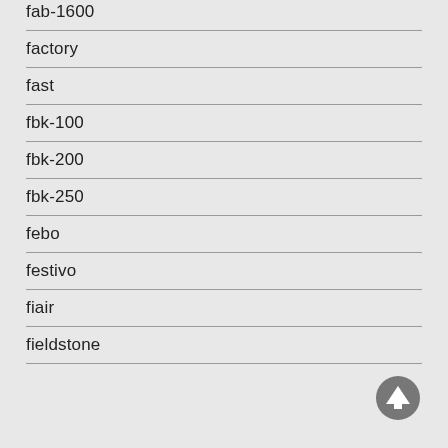fab-1600
factory
fast
fbk-100
fbk-200
fbk-250
febo
festivo
fiair
fieldstone
[Figure (illustration): Circular navigation button with upward arrow for scrolling to top]